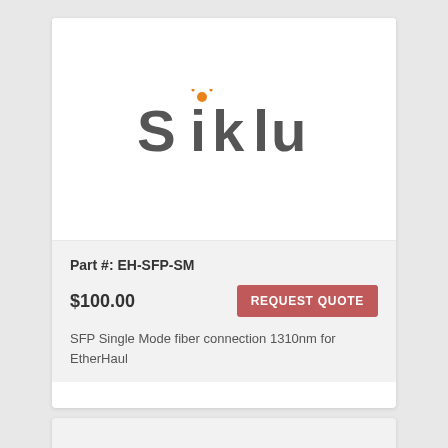[Figure (logo): Siklu company logo — bold dark gray text 'Siklu' with an orange wifi/signal icon above the letter 'i']
Part #: EH-SFP-SM
$100.00
REQUEST QUOTE
SFP Single Mode fiber connection 1310nm for EtherHaul